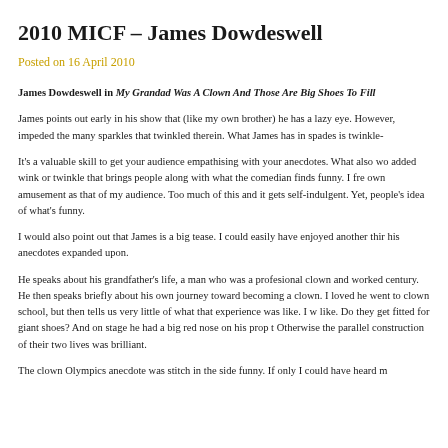2010 MICF – James Dowdeswell
Posted on 16 April 2010
James Dowdeswell in My Grandad Was A Clown And Those Are Big Shoes To Fill
James points out early in his show that (like my own brother) he has a lazy eye. However, impeded the many sparkles that twinkled therein. What James has in spades is twinkle-
It's a valuable skill to get your audience empathising with your anecdotes. What also wo added wink or twinkle that brings people along with what the comedian finds funny. I fre own amusement as that of my audience. Too much of this and it gets self-indulgent. Yet, people's idea of what's funny.
I would also point out that James is a big tease. I could easily have enjoyed another thir his anecdotes expanded upon.
He speaks about his grandfather's life, a man who was a profesional clown and worked century. He then speaks briefly about his own journey toward becoming a clown. I loved he went to clown school, but then tells us very little of what that experience was like. I w like. Do they get fitted for giant shoes? And on stage he had a big red nose on his prop t Otherwise the parallel construction of their two lives was brilliant.
The clown Olympics anecdote was stitch in the side funny. If only I could have heard m